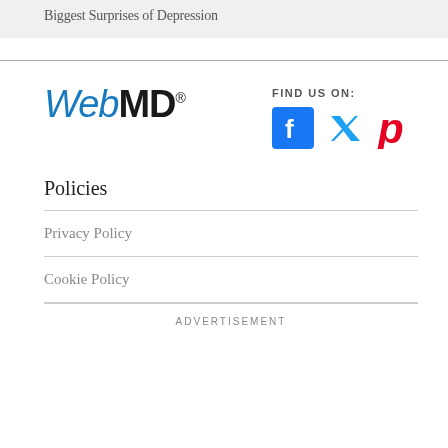Biggest Surprises of Depression
[Figure (logo): WebMD logo in blue and black with registered trademark symbol]
FIND US ON:
[Figure (illustration): Social media icons: Facebook (blue), Twitter (blue bird), Pinterest (red P)]
Policies
Privacy Policy
Cookie Policy
ADVERTISEMENT